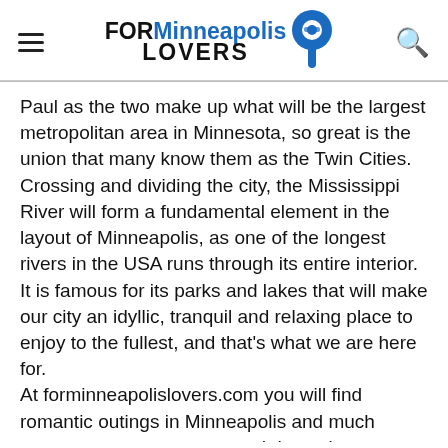FOR Minneapolis LOVERS
Paul as the two make up what will be the largest metropolitan area in Minnesota, so great is the union that many know them as the Twin Cities. Crossing and dividing the city, the Mississippi River will form a fundamental element in the layout of Minneapolis, as one of the longest rivers in the USA runs through its entire interior. It is famous for its parks and lakes that will make our city an idyllic, tranquil and relaxing place to enjoy to the fullest, and that's what we are here for.
At forminneapolislovers.com you will find romantic outings in Minneapolis and much more, as we are a young and dynamic team eager to show you all the hidden corners of our city, which we are in love with, and we hope you will be too soon. Start reading us and explore Minneapolis our way, that is, through explanatory posts that will make it